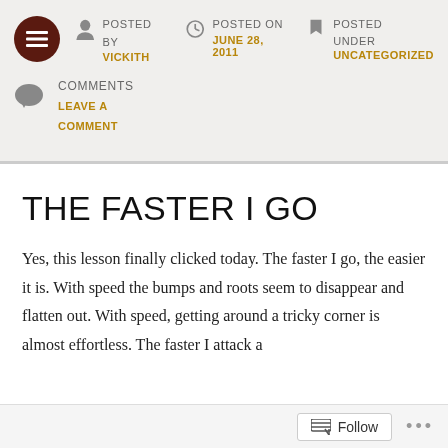POSTED BY VICKITH | POSTED ON JUNE 28, 2011 | POSTED UNDER UNCATEGORIZED
COMMENTS
LEAVE A COMMENT
THE FASTER I GO
Yes, this lesson finally clicked today. The faster I go, the easier it is. With speed the bumps and roots seem to disappear and flatten out. With speed, getting around a tricky corner is almost effortless. The faster I attack a
Follow ...